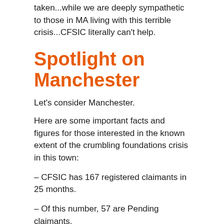taken...while we are deeply sympathetic to those in MA living with this terrible crisis...CFSIC literally can't help.
Spotlight on Manchester
Let's consider Manchester.
Here are some important facts and figures for those interested in the known extent of the crumbling foundations crisis in this town:
– CFSIC has 167 registered claimants in 25 months.
– Of this number, 57 are Pending claimants.